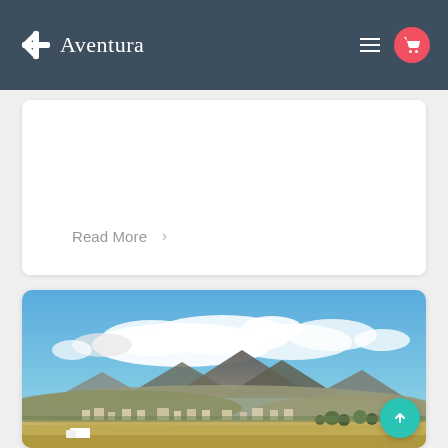Aventura
Read More >
[Figure (photo): Landscape photograph showing a small town with mountains in the background and blue sky with white clouds above.]